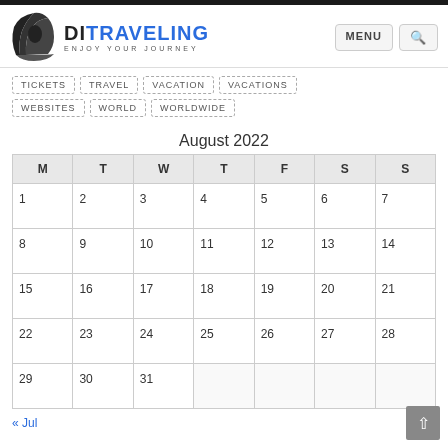DI TRAVELING — ENJOY YOUR JOURNEY
TICKETS  TRAVEL  VACATION  VACATIONS
WEBSITES  WORLD  WORLDWIDE
August 2022
| M | T | W | T | F | S | S |
| --- | --- | --- | --- | --- | --- | --- |
| 1 | 2 | 3 | 4 | 5 | 6 | 7 |
| 8 | 9 | 10 | 11 | 12 | 13 | 14 |
| 15 | 16 | 17 | 18 | 19 | 20 | 21 |
| 22 | 23 | 24 | 25 | 26 | 27 | 28 |
| 29 | 30 | 31 |  |  |  |  |
« Jul